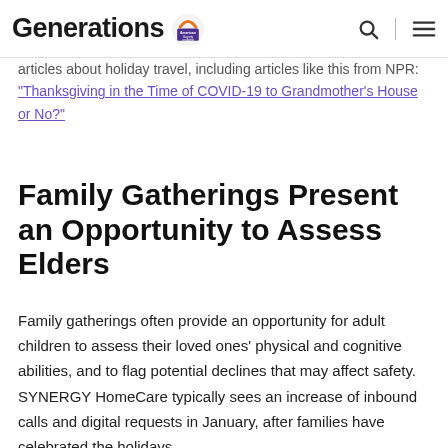Generations (American Society on Aging)
holiday plans, and we are seeing increasing articles about holiday travel, including articles like this from NPR: "Thanksgiving in the Time of COVID-19 to Grandmother's House or No?"
Family Gatherings Present an Opportunity to Assess Elders
Family gatherings often provide an opportunity for adult children to assess their loved ones' physical and cognitive abilities, and to flag potential declines that may affect safety. SYNERGY HomeCare typically sees an increase of inbound calls and digital requests in January, after families have celebrated the holidays.